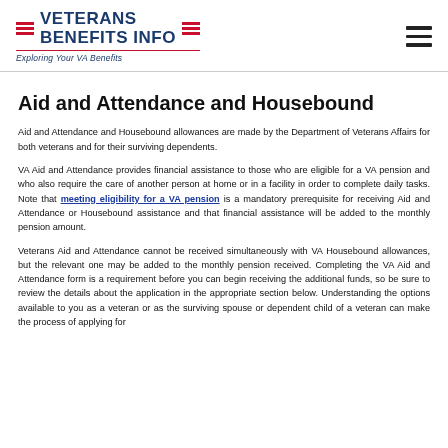VETERANS BENEFITS INFO — Exploring Your VA Benefits
Aid and Attendance and Housebound
Aid and Attendance and Housebound allowances are made by the Department of Veterans Affairs for both veterans and for their surviving dependents.
VA Aid and Attendance provides financial assistance to those who are eligible for a VA pension and who also require the care of another person at home or in a facility in order to complete daily tasks. Note that meeting eligibility for a VA pension is a mandatory prerequisite for receiving Aid and Attendance or Housebound assistance and that financial assistance will be added to the monthly pension amount.
Veterans Aid and Attendance cannot be received simultaneously with VA Housebound allowances, but the relevant one may be added to the monthly pension received. Completing the VA Aid and Attendance form is a requirement before you can begin receiving the additional funds, so be sure to review the details about the application in the appropriate section below. Understanding the options available to you as a veteran or as the surviving spouse or dependent child of a veteran can make the process of applying for